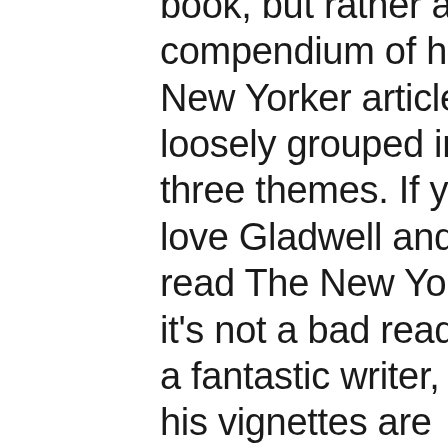book, but rather a compendium of his New Yorker articles loosely grouped into three themes. If you love Gladwell and don't read The New Yorker, it's not a bad read. He's a fantastic writer, and his vignettes are interesting.  There are many “hmmm” moments as we learn why ketchup always tastes the same but mustard doesn't;...